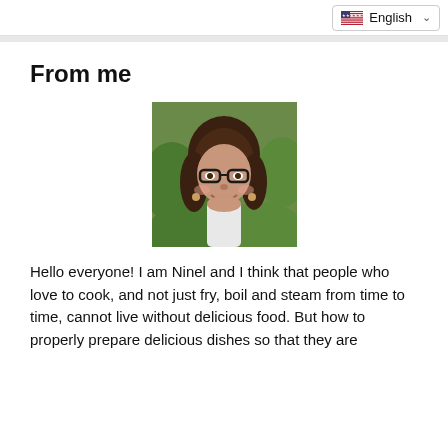English
From me
[Figure (photo): Portrait photo of a woman with glasses, dark hair, smiling, with green foliage in the background]
Hello everyone! I am Ninel and I think that people who love to cook, and not just fry, boil and steam from time to time, cannot live without delicious food. But how to properly prepare delicious dishes so that they are